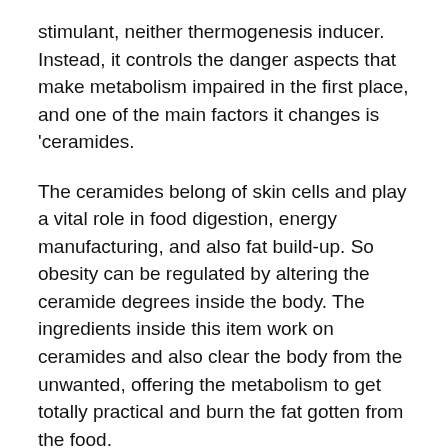stimulant, neither thermogenesis inducer. Instead, it controls the danger aspects that make metabolism impaired in the first place, and one of the main factors it changes is ‘ceramides.
The ceramides belong of skin cells and play a vital role in food digestion, energy manufacturing, and also fat build-up. So obesity can be regulated by altering the ceramide degrees inside the body. The ingredients inside this item work on ceramides and also clear the body from the unwanted, offering the metabolism to get totally practical and burn the fat gotten from the food.
When all of these calories are utilized to produce energy, there is little to no chance of fat buildup.